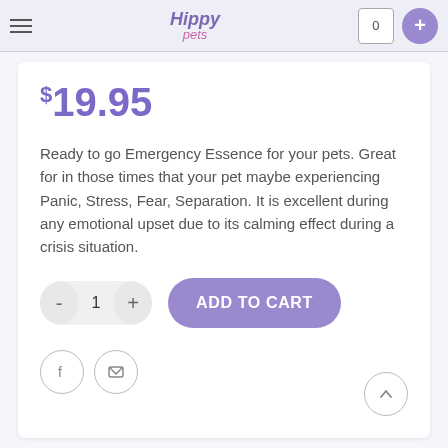Hippy Pets
$19.95
Ready to go Emergency Essence for your pets. Great for in those times that your pet maybe experiencing Panic, Stress, Fear, Separation. It is excellent during any emotional upset due to its calming effect during a crisis situation.
- 1 + ADD TO CART